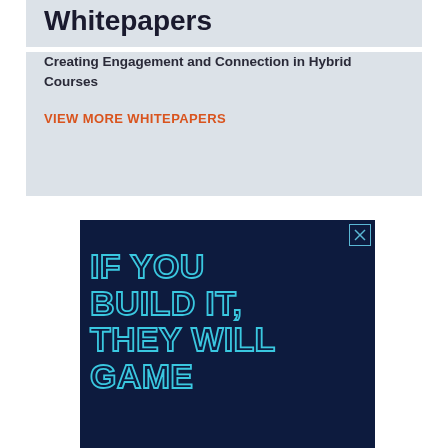Whitepapers
Creating Engagement and Connection in Hybrid Courses
VIEW MORE WHITEPAPERS
[Figure (screenshot): Dark navy blue advertisement banner with cyan outlined block text reading: IF YOU BUILD IT, THEY WILL GAME. Has a small X close button in top right corner with cyan border.]